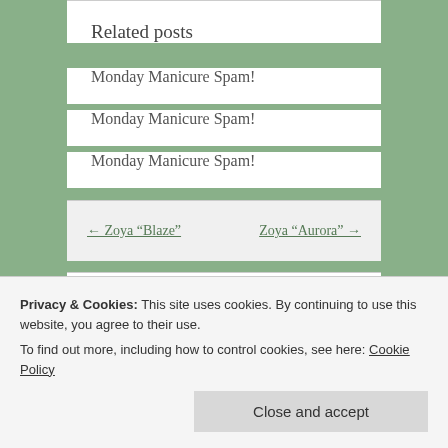Related posts
Monday Manicure Spam!
Monday Manicure Spam!
Monday Manicure Spam!
← Zoya “Blaze”     Zoya “Aurora” →
5 thoughts on “Weekend Manicure
Privacy & Cookies: This site uses cookies. By continuing to use this website, you agree to their use.
To find out more, including how to control cookies, see here: Cookie Policy
Close and accept